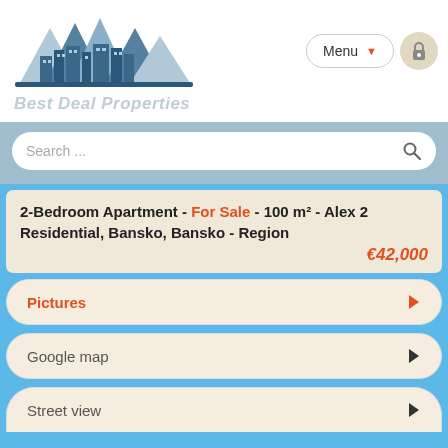[Figure (logo): Best Deal Properties logo with mountains and city skyline silhouette in blue]
Best Deal Properties
[Figure (other): Menu dropdown button and lock icon button in navigation bar]
[Figure (other): Search bar with placeholder text 'Search ...' and search icon]
2-Bedroom Apartment - For Sale - 100 m² - Alex 2 Residential, Bansko, Bansko - Region €42,000
Pictures
Google map
Street view